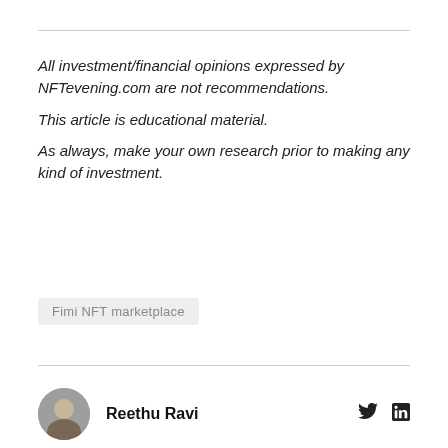All investment/financial opinions expressed by NFTevening.com are not recommendations.

This article is educational material.

As always, make your own research prior to making any kind of investment.
Fimi NFT marketplace
Reethu Ravi